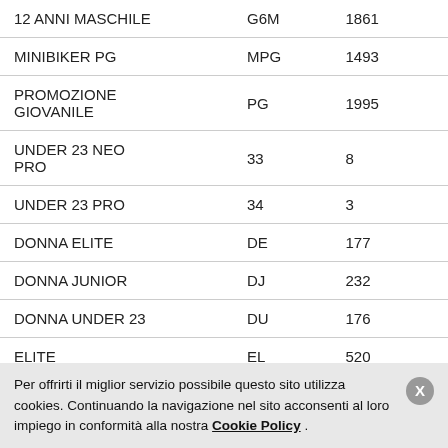| 12 ANNI MASCHILE | G6M | 1861 |
| MINIBIKER PG | MPG | 1493 |
| PROMOZIONE GIOVANILE | PG | 1995 |
| UNDER 23 NEO PRO | 33 | 8 |
| UNDER 23 PRO | 34 | 3 |
| DONNA ELITE | DE | 177 |
| DONNA JUNIOR | DJ | 232 |
| DONNA UNDER 23 | DU | 176 |
| ELITE | EL | 520 |
| JUNIORES | JU | 1745 |
Per offrirti il miglior servizio possibile questo sito utilizza cookies. Continuando la navigazione nel sito acconsenti al loro impiego in conformità alla nostra Cookie Policy .